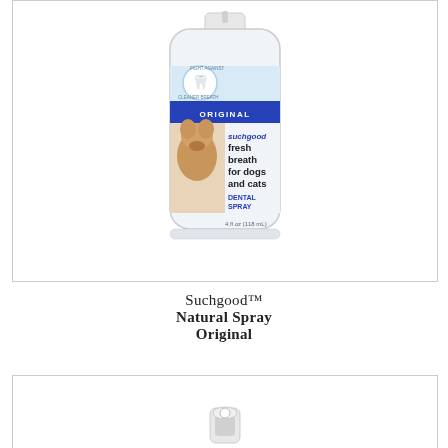[Figure (photo): Suchgood Fresh Breath dental spray bottle for dogs and cats, Original variant. Clear/white bottle with blue label band reading ORIGINAL, a Pomeranian dog photo on the label, and text: suchgood fresh breath for dogs and cats DENTAL SPRAY 4 fl oz (118 mL).]
Suchgood™
Natural Spray
Original
[Figure (photo): Partial view of another Suchgood product at the bottom of the page, showing the top of a small container.]